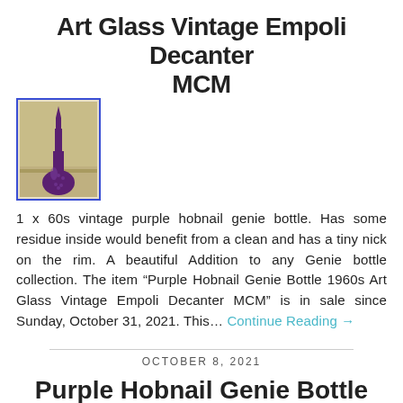Purple Hobnail Genie Bottle 1960s Art Glass Vintage Empoli Decanter MCM
[Figure (photo): Photo of a purple hobnail genie bottle decanter, tall with a narrow neck and bulbous base, set against a yellow-beige wall background]
1 x 60s vintage purple hobnail genie bottle. Has some residue inside would benefit from a clean and has a tiny nick on the rim. A beautiful Addition to any Genie bottle collection. The item “Purple Hobnail Genie Bottle 1960s Art Glass Vintage Empoli Decanter MCM” is in sale since Sunday, October 31, 2021. This… Continue Reading →
OCTOBER 8, 2021
Purple Hobnail Genie Bottle 1960s…